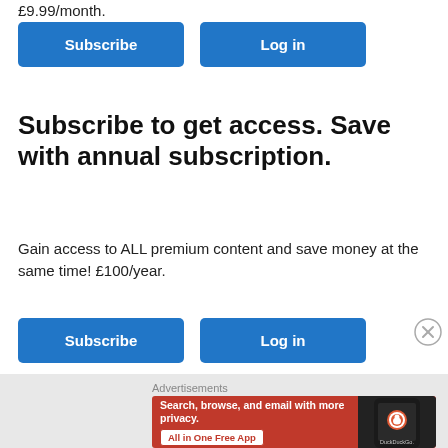£9.99/month.
[Figure (screenshot): Two blue buttons: Subscribe and Log in (top row)]
Subscribe to get access. Save with annual subscription.
Gain access to ALL premium content and save money at the same time! £100/year.
[Figure (screenshot): Two blue buttons: Subscribe and Log in (bottom row)]
Advertisements
[Figure (infographic): DuckDuckGo advertisement banner: Search, browse, and email with more privacy. All in One Free App. Shows DuckDuckGo logo on a phone on an orange-red background.]